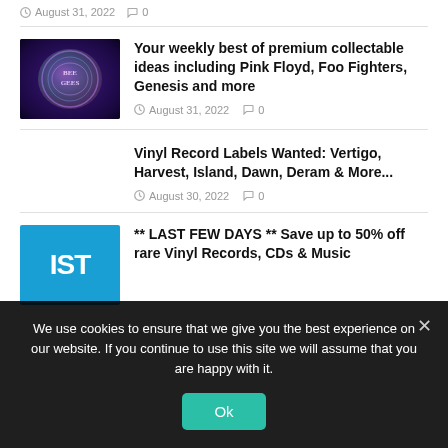August 31, 2022  0
[Figure (photo): Bee Gees holographic logo badge with rainbow iridescent background]
Your weekly best of premium collectable ideas including Pink Floyd, Foo Fighters, Genesis and more
August 31, 2022  0
Vinyl Record Labels Wanted: Vertigo, Harvest, Island, Dawn, Deram & More...
August 30, 2022  0
[Figure (logo): IST logo on blue background with white bold text]
** LAST FEW DAYS ** Save up to 50% off rare Vinyl Records, CDs & Music
We use cookies to ensure that we give you the best experience on our website. If you continue to use this site we will assume that you are happy with it.
Ok